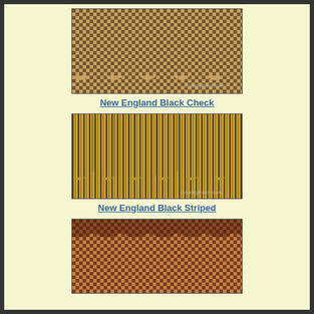[Figure (photo): Fabric valance with black and tan gingham/check pattern, ruffled bottom edge]
New England Black Check
[Figure (photo): Fabric valance with black and tan vertical stripes, ruffled/gathered style]
New England Black Striped
[Figure (photo): Fabric valance with dark red/burgundy and tan check pattern, ruffled bottom]